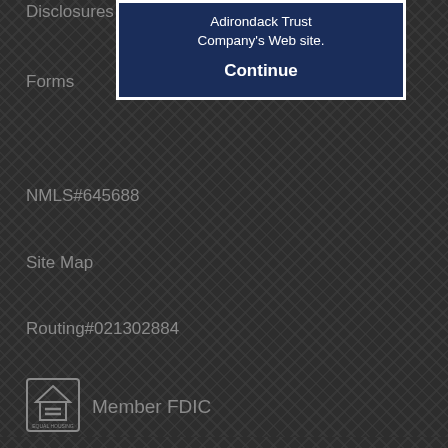[Figure (screenshot): Modal popup box with dark navy blue background showing 'Adirondack Trust Company's Web site.' and a bold 'Continue' button in white text]
Disclosures
Forms
NMLS#645688
Site Map
Routing#021302884
[Figure (logo): Equal Housing Lender logo (house with equal sign)]
Member FDIC
Investment & Insurance Products are:
NOT A DEPOSIT * NOT FDIC INSURED * NOT GUARANTEED BY THE BANK * NOT INSURED BY ANY GOVERNMENT AGENCY * MAY GO DOWN IN VALUE
Above and Beyond and the Adirondack Trust Company logo are registered trademarks of The Adirondack Trust Company. - Get Adobe Reader